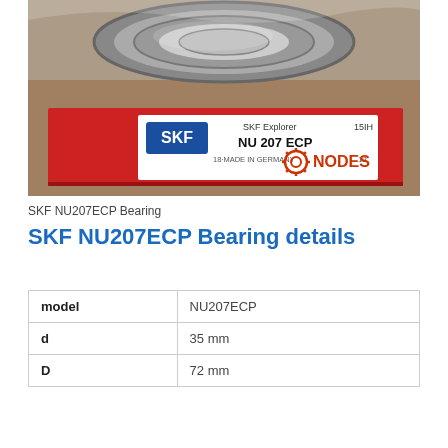[Figure (photo): Photo of SKF NU207 ECP bearing in packaging. Shows the bearing on top of a red SKF box. The white label on the box reads: SKF Explorer, 15IH, NU 207 ECP, 18·MADE IN GERMANY, 12. A watermark in the lower right corner shows the NODES logo with a red gear icon.]
SKF NU207ECP Bearing
SKF NU207ECP Bearing details
| model |  |
| --- | --- |
| model | NU207ECP |
| d | 35 mm |
| D | 72 mm |